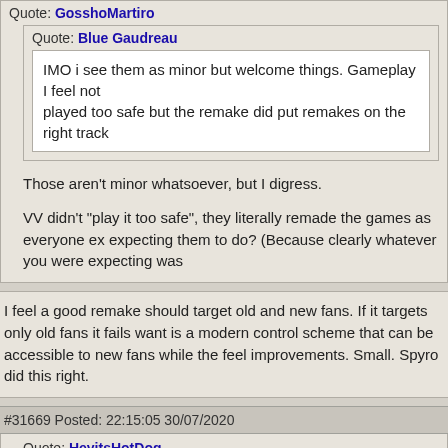Quote: GosshoMartiro
Quote: Blue Gaudreau
IMO i see them as minor but welcome things. Gameplay I feel not played too safe but the remake did put remakes on the right track
Those aren't minor whatsoever, but I digress.

VV didn't "play it too safe", they literally remade the games as everyone ex expecting them to do? (Because clearly whatever you were expecting was
I feel a good remake should target old and new fans. If it targets only old fans it fails want is a modern control scheme that can be accessible to new fans while the feel improvements. Small. Spyro did this right.
#31669 Posted: 22:15:05 30/07/2020
Quote: HeyitsHotDog
You guys are on fire, every time I go to a new page, I have a subscription n

And VV definitely didn't play it too safe. It's literally the same games with e: